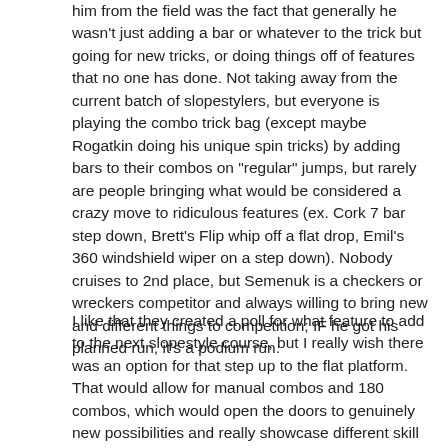him from the field was the fact that generally he wasn't just adding a bar or whatever to the trick but going for new tricks, or doing things off of features that no one has done. Not taking away from the current batch of slopestylers, but everyone is playing the combo trick bag (except maybe Rogatkin doing his unique spin tricks) by adding bars to their combos on "regular" jumps, but rarely are people bringing what would be considered a crazy move to ridiculous features (ex. Cork 7 bar step down, Brett's Flip whip off a flat drop, Emil's 360 windshield wiper on a step down). Nobody cruises to 2nd place, but Semenuk is a checkers or wreckers competitor and always willing to bring new and different things to competition; IF he got his planned run, it's a podium run.
I like that they created a poll for what feature to add to the next slopestyle course, but I really wish there was an option for that step up to the flat platform. That would allow for manual combos and 180 combos, which would open the doors to genuinely new possibilities and really showcase different skill sets (can you imagine what Max Fredriksson and the swedes would be able to do with that??)! The skinny thing is neat for sure, but I don't see much really happening on that, along with the sideways bowl thing (which they had in the 2010 Whistler crankworx. Then the other two features are hardly a departure from normal slopestyle things (big quarter hip, and the whale tail). They should just add